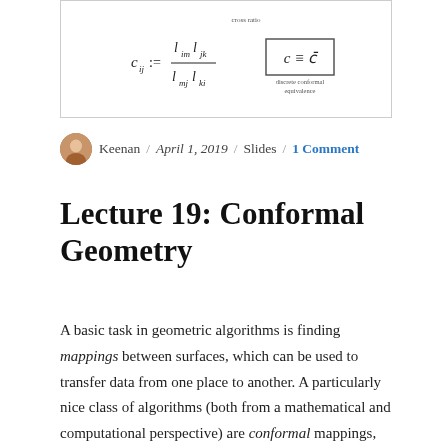[Figure (math-figure): Slide excerpt showing the cross ratio formula c_ij := (l_im * l_jk) / (l_mj * l_ki) and a box with 'c ≡ c̄' labeled 'discrete conformal equivalence']
Keenan / April 1, 2019 / Slides / 1 Comment
Lecture 19: Conformal Geometry
A basic task in geometric algorithms is finding mappings between surfaces, which can be used to transfer data from one place to another. A particularly nice class of algorithms (both from a mathematical and computational perspective) are conformal mappings, which preserve angles between vectors, and are generally very well-